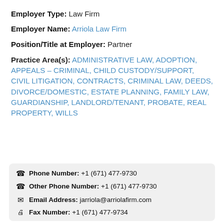Employer Type: Law Firm
Employer Name: Arriola Law Firm
Position/Title at Employer: Partner
Practice Area(s): ADMINISTRATIVE LAW, ADOPTION, APPEALS – CRIMINAL, CHILD CUSTODY/SUPPORT, CIVIL LITIGATION, CONTRACTS, CRIMINAL LAW, DEEDS, DIVORCE/DOMESTIC, ESTATE PLANNING, FAMILY LAW, GUARDIANSHIP, LANDLORD/TENANT, PROBATE, REAL PROPERTY, WILLS
Phone Number: +1 (671) 477-9730
Other Phone Number: +1 (671) 477-9730
Email Address: jarriola@arriolafirm.com
Fax Number: +1 (671) 477-9734